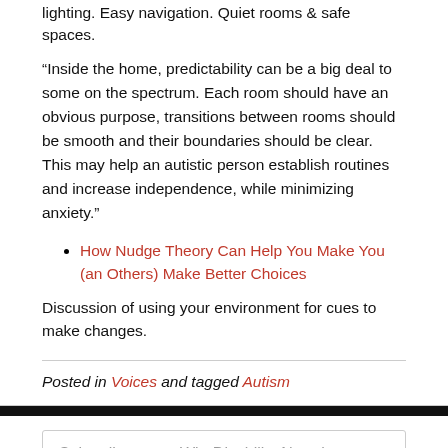lighting. Easy navigation. Quiet rooms & safe spaces.
“Inside the home, predictability can be a big deal to some on the spectrum. Each room should have an obvious purpose, transitions between rooms should be smooth and their boundaries should be clear. This may help an autistic person establish routines and increase independence, while minimizing anxiety.”
How Nudge Theory Can Help You Make You (an Others) Make Better Choices
Discussion of using your environment for cues to make changes.
Posted in Voices and tagged Autism
Subscribe to our WireDisability Newsletter Today
Your email address *